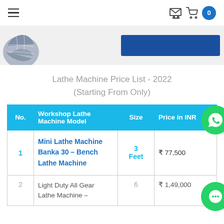[Figure (screenshot): Navigation bar with hamburger menu icon on left and shopping cart with badge showing 0 on right]
[Figure (screenshot): Header strip with partial globe/world map image on the left and a solid blue rectangular banner on the right]
Lathe Machine Price List - 2022
(Starting From Only)
| No. | Workshop Lathe Machine Model | Size | Price in INR |
| --- | --- | --- | --- |
| 1 | Mini Lathe Machine Banka 30 – Bench Lathe Machine | 3 Feet | ₹ 77,500 |
| 2 | Light Duty All Gear Lathe Machine – | 6 | ₹ 1,49,000 |